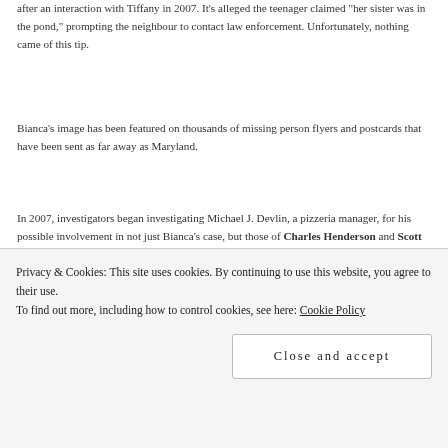after an interaction with Tiffany in 2007. It's alleged the teenager claimed "her sister was in the pond," prompting the neighbour to contact law enforcement. Unfortunately, nothing came of this tip.
Bianca's image has been featured on thousands of missing person flyers and postcards that have been sent as far away as Maryland.
In 2007, investigators began investigating Michael J. Devlin, a pizzeria manager, for his possible involvement in not just Bianca's case, but those of Charles Henderson and Scott Kleeshulte. Scott was 9 years old when he went missing from St. Charles, Missouri in 1988, while 11-year-old Charles was last seen in Moscow Mills, Missouri in July 1991.
Devlin came onto police radar in January 2007, when Shawn
Privacy & Cookies: This site uses cookies. By continuing to use this website, you agree to their use.
To find out more, including how to control cookies, see here: Cookie Policy
Close and accept